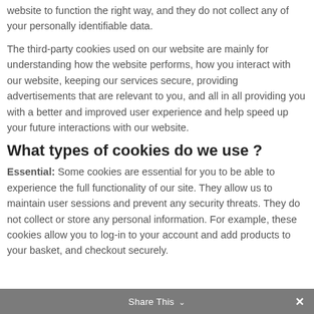website to function the right way, and they do not collect any of your personally identifiable data.
The third-party cookies used on our website are mainly for understanding how the website performs, how you interact with our website, keeping our services secure, providing advertisements that are relevant to you, and all in all providing you with a better and improved user experience and help speed up your future interactions with our website.
What types of cookies do we use ?
Essential: Some cookies are essential for you to be able to experience the full functionality of our site. They allow us to maintain user sessions and prevent any security threats. They do not collect or store any personal information. For example, these cookies allow you to log-in to your account and add products to your basket, and checkout securely.
Share This ×